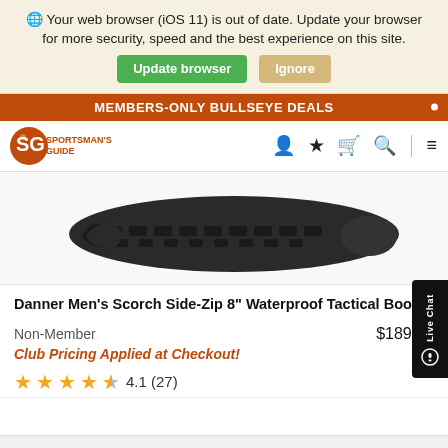🌐 Your web browser (iOS 11) is out of date. Update your browser for more security, speed and the best experience on this site.
Update browser | Ignore
MEMBERS-ONLY BULLSEYE DEALS
[Figure (logo): Sportsman's Guide logo with SG icon and text]
[Figure (photo): Bottom sole of a dark/black tactical boot (Danner Men's Scorch Side-Zip 8" Waterproof Tactical Boot)]
Danner Men's Scorch Side-Zip 8" Waterproof Tactical Boot
Non-Member   $189.95
Club Pricing Applied at Checkout!
★★★★☆ 4.1 (27)